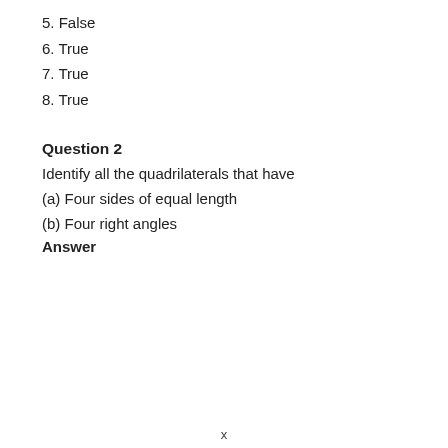5. False
6. True
7. True
8. True
Question 2
Identify all the quadrilaterals that have
(a) Four sides of equal length
(b) Four right angles
Answer
x